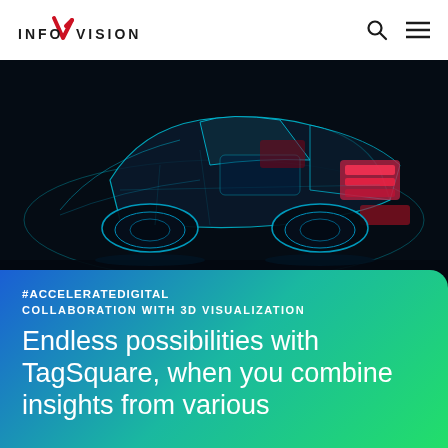[Figure (logo): InfoVision logo with red checkmark V and black text INFOVISION]
[Figure (photo): X-ray style visualization of a car with cyan and red neon highlights on dark background, showing internal components]
#ACCELERATEDIGITAL
COLLABORATION WITH 3D VISUALIZATION
Endless possibilities with TagSquare, when you combine insights from various